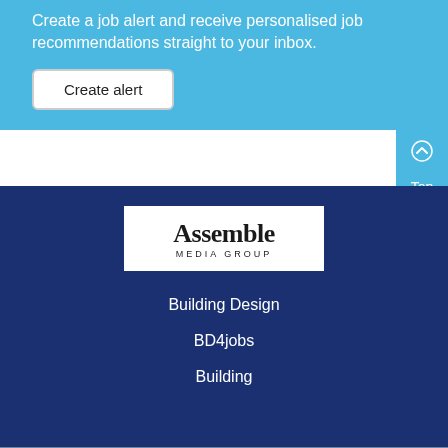Create a job alert and receive personalised job recommendations straight to your inbox.
Create alert
[Figure (other): Top button with chevron up arrow icon and label 'Top', dark navy background with light blue accent]
[Figure (logo): Assemble Media Group logo — white rectangle with serif wordmark 'Assemble' and spaced-letter subtitle 'MEDIA GROUP']
Building Design
BD4jobs
Building